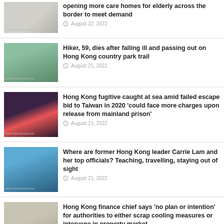opening more care homes for elderly across the border to meet demand — August 22, 2022
Hiker, 59, dies after falling ill and passing out on Hong Kong country park trail — August 21, 2022
Hong Kong fugitive caught at sea amid failed escape bid to Taiwan in 2020 ‘could face more charges upon release from mainland prison’ — August 21, 2022
Where are former Hong Kong leader Carrie Lam and her top officials? Teaching, travelling, staying out of sight — August 21, 2022
Hong Kong finance chief says ‘no plan or intention’ for authorities to either scrap cooling measures or intervene in property market — August 21, 2022
12 people injured after Hong Kong bus hits teenage